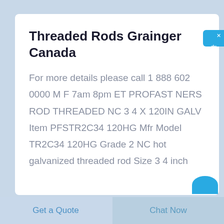Threaded Rods Grainger Canada
For more details please call 1 888 602 0000 M F 7am 8pm ET PROFAST NERS ROD THREADED NC 3 4 X 120IN GALV Item PFSTR2C34 120HG Mfr Model TR2C34 120HG Grade 2 NC hot galvanized threaded rod Size 3 4 inch
Get a Quote
Chat Now